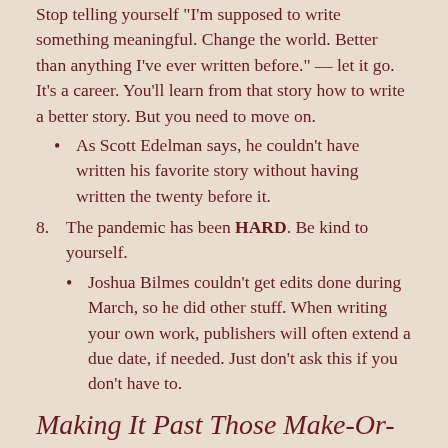Stop telling yourself “I’m supposed to write something meaningful. Change the world. Better than anything I’ve ever written before.” — let it go. It’s a career. You’ll learn from that story how to write a better story. But you need to move on.
As Scott Edelman says, he couldn’t have written his favorite story without having written the twenty before it.
8. The pandemic has been HARD. Be kind to yourself.
Joshua Bilmes couldn’t get edits done during March, so he did other stuff. When writing your own work, publishers will often extend a due date, if needed. Just don’t ask this if you don’t have to.
Making It Past Those Make-Or-